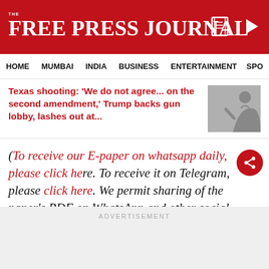THE FREE PRESS JOURNAL
HOME   MUMBAI   INDIA   BUSINESS   ENTERTAINMENT   SPO
Texas shooting: 'We do not agree... on the second amendment,' Trump backs gun lobby, lashes out at...
(To receive our E-paper on whatsapp daily, please click here. To receive it on Telegram, please click here. We permit sharing of the paper's PDF on WhatsApp and other social media platforms.)
ADVERTISEMENT